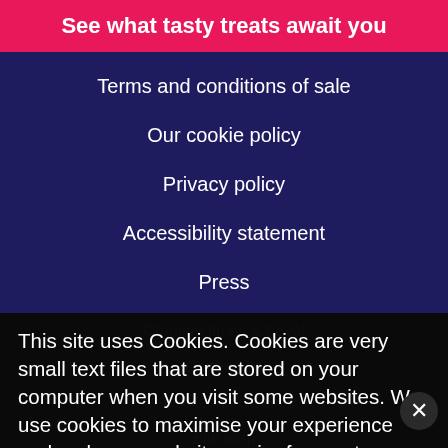See what tasty treats await you
Terms and conditions of sale
Our cookie policy
Privacy policy
Accessibility statement
Press
Opening times & travel
Contact us
Venue technical specs
Site map
This site uses Cookies. Cookies are very small text files that are stored on your computer when you visit some websites. We use cookies to maximise your experience and make our website easier for you to use. Learn more...